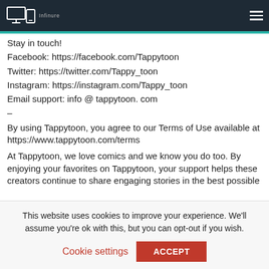Infinure [logo]
Stay in touch!
Facebook: https://facebook.com/Tappytoon
Twitter: https://twitter.com/Tappy_toon
Instagram: https://instagram.com/Tappy_toon
Email support: info @ tappytoon. com
–
By using Tappytoon, you agree to our Terms of Use available at https://www.tappytoon.com/terms
At Tappytoon, we love comics and we know you do too. By enjoying your favorites on Tappytoon, your support helps these creators continue to share engaging stories in the best possible
This website uses cookies to improve your experience. We'll assume you're ok with this, but you can opt-out if you wish.
Cookie settings    ACCEPT